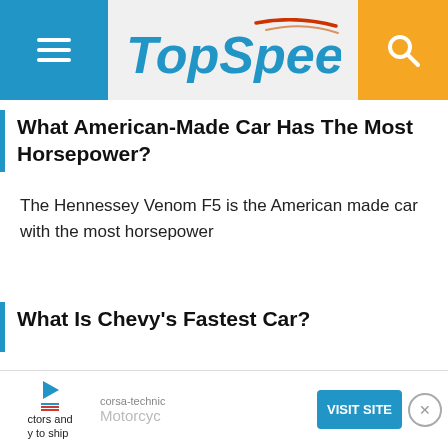TopSpeed
What American-Made Car Has The Most Horsepower?
The Hennessey Venom F5 is the American made car with the most horsepower
What Is Chevy's Fastest Car?
With a top speed of 212 mph, The C7 Corvette ZR1 is Chevy's fastest...
[Figure (other): Advertisement banner: corsa-technic Motorcycles VISIT SITE ad with close button]